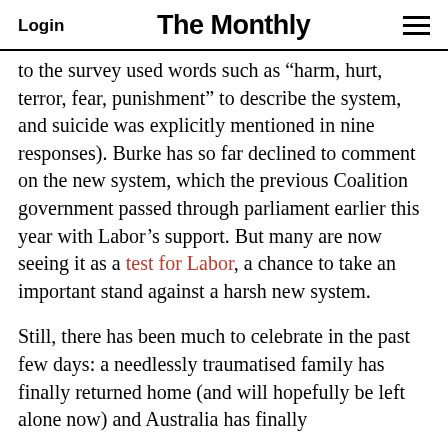Login   The Monthly   ≡
to the survey used words such as “harm, hurt, terror, fear, punishment” to describe the system, and suicide was explicitly mentioned in nine responses). Burke has so far declined to comment on the new system, which the previous Coalition government passed through parliament earlier this year with Labor’s support. But many are now seeing it as a test for Labor, a chance to take an important stand against a harsh new system.
Still, there has been much to celebrate in the past few days: a needlessly traumatised family has finally returned home (and will hopefully be left alone now) and Australia has finally